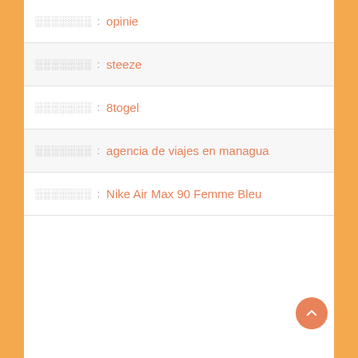░░░░░░░: opinie
░░░░░░░: steeze
░░░░░░░: 8togel
░░░░░░░: agencia de viajes en managua
░░░░░░░: Nike Air Max 90 Femme Bleu